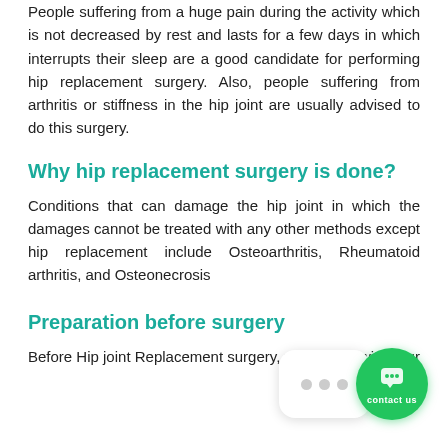People suffering from a huge pain during the activity which is not decreased by rest and lasts for a few days in which interrupts their sleep are a good candidate for performing hip replacement surgery. Also, people suffering from arthritis or stiffness in the hip joint are usually advised to do this surgery.
Why hip replacement surgery is done?
Conditions that can damage the hip joint in which the damages cannot be treated with any other methods except hip replacement include Osteoarthritis, Rheumatoid arthritis, and Osteonecrosis
Preparation before surgery
Before Hip joint Replacement surgery, you'll meet with your